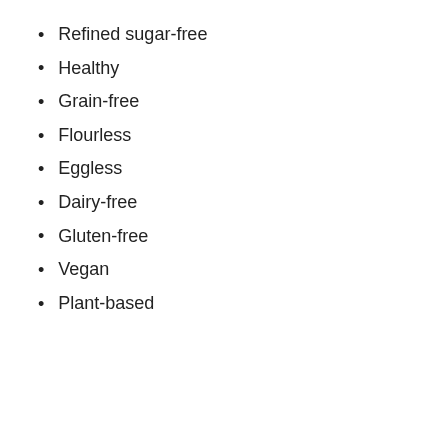Refined sugar-free
Healthy
Grain-free
Flourless
Eggless
Dairy-free
Gluten-free
Vegan
Plant-based